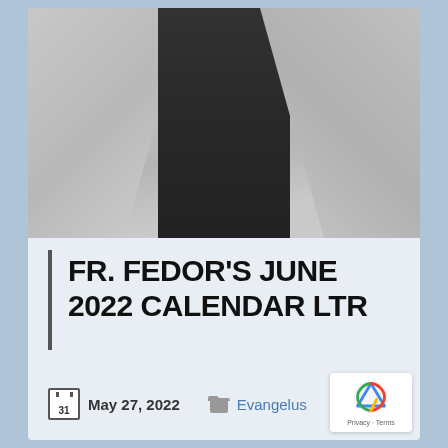[Figure (photo): Photo of a person from torso up wearing a light grey suit jacket over a dark shirt, photographed from below chin level]
FR. FEDOR'S JUNE 2022 CALENDAR LTR
May 27, 2022   Evangelus